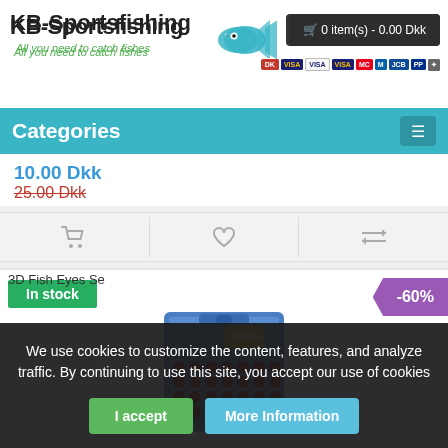[Figure (logo): KB-Sportsfishing logo with fish icon and tagline 'All you need to catch fishes']
0 item(s) - 0.00 Dkk
[Figure (other): Payment method icons: Dankort, Visa, Mastercard, Maestro, JCB, PayPal, and others]
Categories
10.00 Dkk
25.00 Dkk
[Figure (other): Action icons row: shopping cart, heart/wishlist, and compare arrows]
In stock
-60%
[Figure (photo): Product image showing a blister pack of 3D Fish Eyes Self Adhesive red dots]
3D Fish Eyes Se
We use cookies to customize the content, features, and analyze traffic. By continuing to use this site, you accept our use of cookies
I accept
More Information